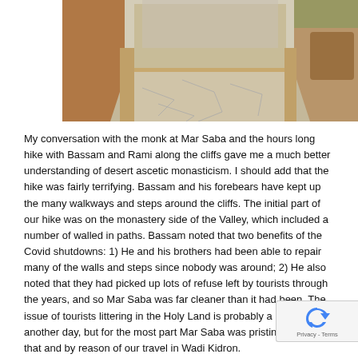[Figure (photo): Ancient stone ruins with a paved stone floor pathway between carved rock walls, showing archaeological site at Mar Saba area]
My conversation with the monk at Mar Saba and the hours long hike with Bassam and Rami along the cliffs gave me a much better understanding of desert ascetic monasticism. I should add that the hike was fairly terrifying. Bassam and his forebears have kept up the many walkways and steps around the cliffs. The initial part of our hike was on the monastery side of the Valley, which included a number of walled in paths. Bassam noted that two benefits of the Covid shutdowns: 1) He and his brothers had been able to repair many of the walls and steps since nobody was around; 2) He also noted that they had picked up lots of refuse left by tourists through the years, and so Mar Saba was far cleaner than it had been. The issue of tourists littering in the Holy Land is probably a post for another day, but for the most part Mar Saba was pristine following that and by reason of our travel in Wadi Kidron.